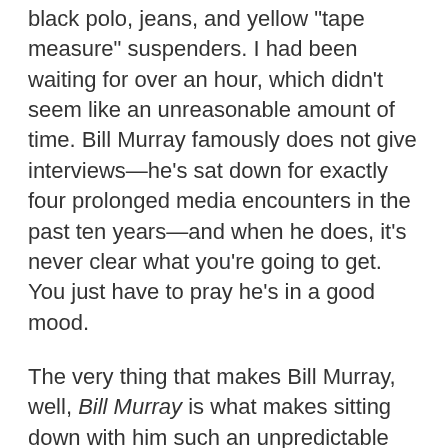black polo, jeans, and yellow "tape measure" suspenders. I had been waiting for over an hour, which didn't seem like an unreasonable amount of time. Bill Murray famously does not give interviews—he's sat down for exactly four prolonged media encounters in the past ten years—and when he does, it's never clear what you're going to get. You just have to pray he's in a good mood.
The very thing that makes Bill Murray, well, Bill Murray is what makes sitting down with him such an unpredictable enterprise. Bill Murray crashes parties, ditches promotional appearances, clashes with his friends, his collaborators, and his enemies. If you—movie director, journalist, dentist—want to speak to him, you don't go through any gatekeeper. You leave a message on an 800 number. If Bill Murray wants to speak with you, he'll call you back. If his three and a half decades in the public sphere have taught us anything about the 59-year-old actor, it's that he